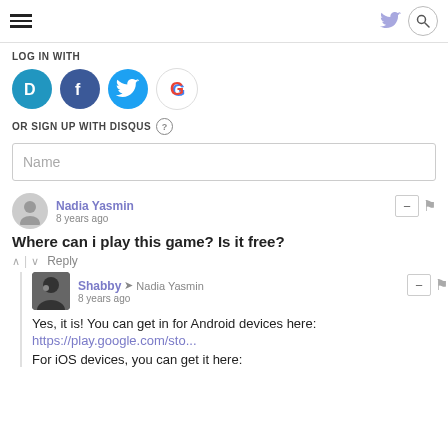LOG IN WITH
[Figure (screenshot): Social login buttons: Disqus (D), Facebook (f), Twitter bird, Google (G)]
OR SIGN UP WITH DISQUS ?
Name
Nadia Yasmin
8 years ago
Where can i play this game? Is it free?
^ | v  Reply
Shabby → Nadia Yasmin
8 years ago
Yes, it is! You can get in for Android devices here:
https://play.google.com/sto...
For iOS devices, you can get it here: